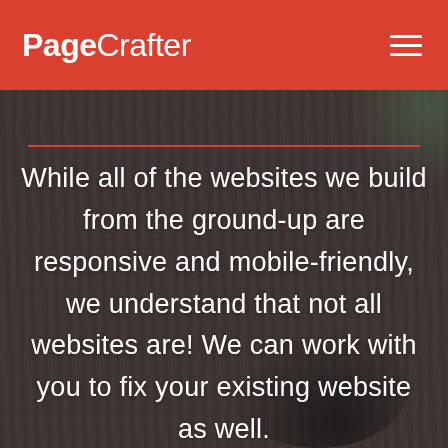PageCrafter
[Figure (photo): Dark wood desk background with a plant in the upper right and a dark round object in the lower right]
While all of the websites we build from the ground-up are responsive and mobile-friendly, we understand that not all websites are! We can work with you to fix your existing website as well.